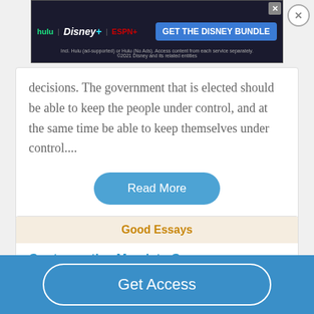[Figure (screenshot): Disney Bundle advertisement banner with Hulu, Disney+, ESPN+ logos and 'GET THE DISNEY BUNDLE' call to action]
decisions. The government that is elected should be able to keep the people under control, and at the same time be able to keep themselves under control....
Read More
Good Essays
Contraceptive Mandate Case
628 Words
3 Pages
Get Access